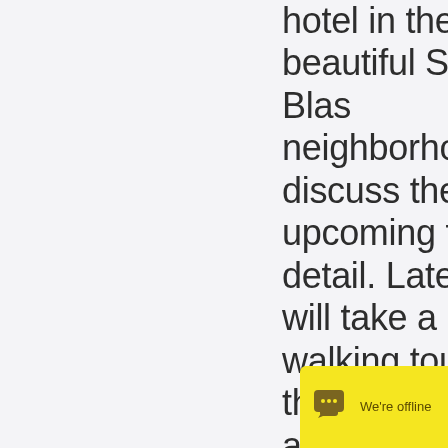hotel in the beautiful San Blas neighborhood to discuss the upcoming trip in detail. Later, we will take a guided walking tour of the historic center and marvel at how Quechua, Spanish and modern influences have molded curre
[Figure (screenshot): Live chat widget showing offline status with chat bubble icon and 'We're offline' text on yellow background]